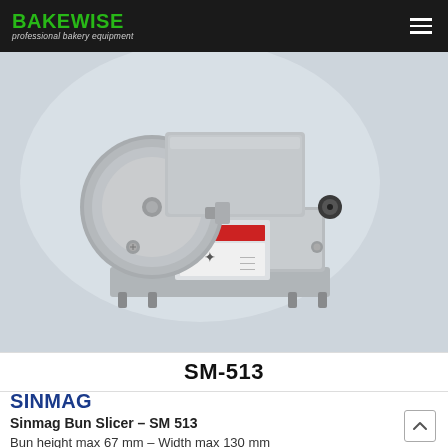BAKEWISE professional bakery equipment
[Figure (photo): Sinmag SM-513 Bun Slicer machine, stainless steel body, shown on light blue-grey background. The machine has a circular disc blade guard, a rectangular top section, and a white warning label on the front.]
SM-513
SINMAG
Sinmag Bun Slicer – SM 513
Bun height max 67 mm – Width max 130 mm
Adjustable cutting height from bottom of the bun 10-30 mm